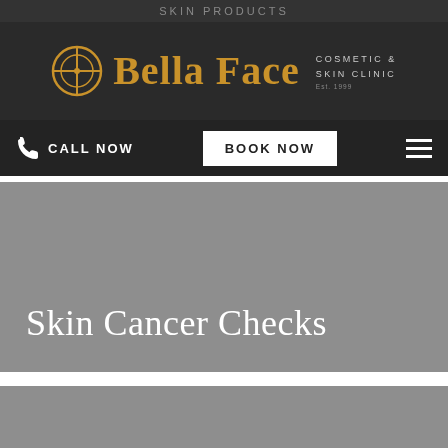SKIN PRODUCTS
[Figure (logo): Bella Face Cosmetic & Skin Clinic logo with circular icon and golden text]
CALL NOW
BOOK NOW
Skin Cancer Checks